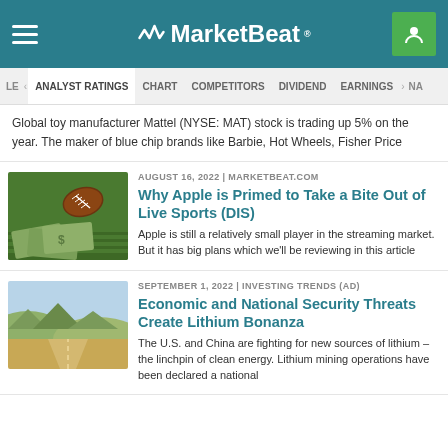MarketBeat
LE | ANALYST RATINGS | CHART | COMPETITORS | DIVIDEND | EARNINGS | NA
Global toy manufacturer Mattel (NYSE: MAT) stock is trading up 5% on the year. The maker of blue chip brands like Barbie, Hot Wheels, Fisher Price
AUGUST 16, 2022 | MARKETBEAT.COM
Why Apple is Primed to Take a Bite Out of Live Sports (DIS)
Apple is still a relatively small player in the streaming market. But it has big plans which we'll be reviewing in this article
SEPTEMBER 1, 2022 | INVESTING TRENDS (AD)
Economic and National Security Threats Create Lithium Bonanza
The U.S. and China are fighting for new sources of lithium – the linchpin of clean energy. Lithium mining operations have been declared a national